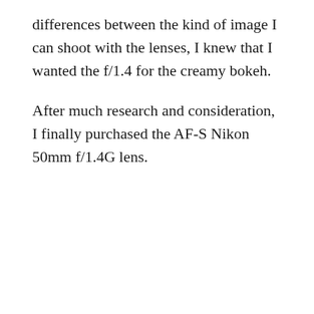differences between the kind of image I can shoot with the lenses, I knew that I wanted the f/1.4 for the creamy bokeh.
After much research and consideration, I finally purchased the AF-S Nikon 50mm f/1.4G lens.